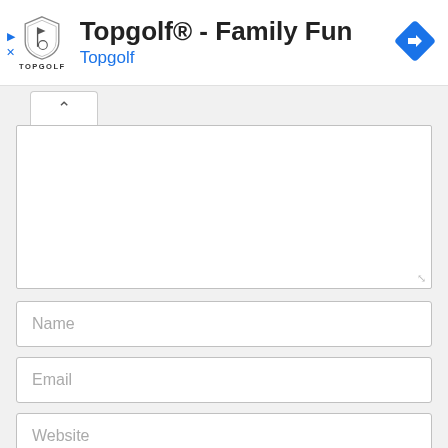[Figure (logo): Topgolf shield logo with text TOPGOLF below]
Topgolf® - Family Fun
Topgolf
[Figure (other): Blue diamond navigation/directions icon]
[Figure (other): Collapse/chevron up button tab]
[Figure (other): Textarea input field (resizable)]
Name
Email
Website